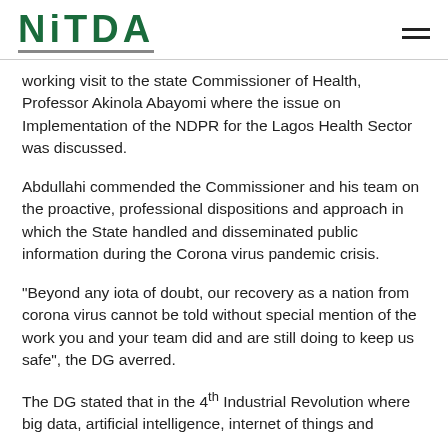NITDA
working visit to the state Commissioner of Health, Professor Akinola Abayomi where the issue on Implementation of the NDPR for the Lagos Health Sector was discussed.
Abdullahi commended the Commissioner and his team on the proactive, professional dispositions and approach in which the State handled and disseminated public information during the Corona virus pandemic crisis.
“Beyond any iota of doubt, our recovery as a nation from corona virus cannot be told without special mention of the work you and your team did and are still doing to keep us safe”, the DG averred.
The DG stated that in the 4th Industrial Revolution where big data, artificial intelligence, internet of things and